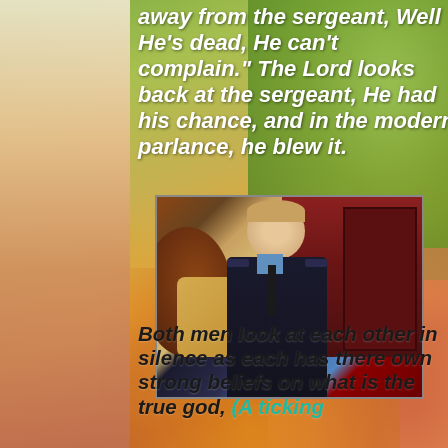away from the sergeant, Well He's dead, He can't complain." The Lord looks back at the sergeant, He had his chance, and in the modern parlance, he blew it.
[Figure (photo): A still from a film showing two people, one in a dark police/military uniform with a tie, sitting and looking forward seriously, with another person visible from behind in the foreground.]
Both men look at each other in silence as each has there own strong beliefs on what is the true god, (A ticking